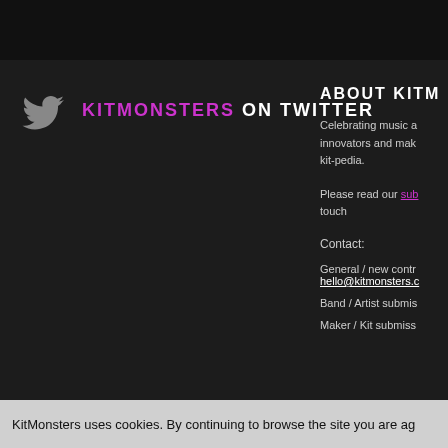KITMONSTERS ON TWITTER
ABOUT KITM
Celebrating music a innovators and mak kit-pedia.
Please read our sub touch
Contact:
General / new contr hello@kitmonsters.c
Band / Artist submis
Maker / Kit submiss
KitMonsters uses cookies. By continuing to browse the site you are ag